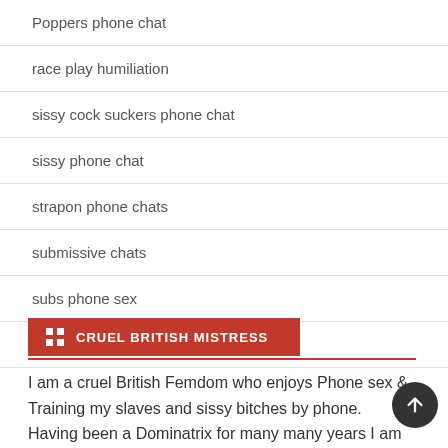Poppers phone chat
race play humiliation
sissy cock suckers phone chat
sissy phone chat
strapon phone chats
submissive chats
subs phone sex
Uncategorized
CRUEL BRITISH MISTRESS
I am a cruel British Femdom who enjoys Phone sex & Training my slaves and sissy bitches by phone. Having been a Dominatrix for many many years I am well versed in every a...